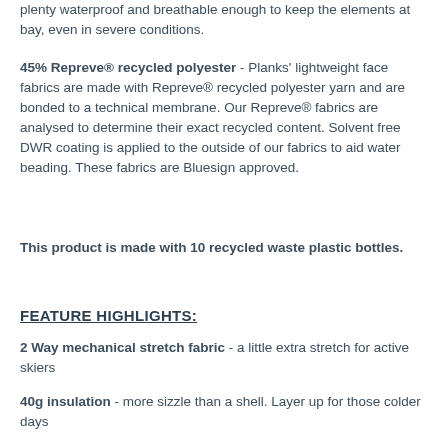plenty waterproof and breathable enough to keep the elements at bay, even in severe conditions.
45% Repreve® recycled polyester - Planks' lightweight face fabrics are made with Repreve® recycled polyester yarn and are bonded to a technical membrane. Our Repreve® fabrics are analysed to determine their exact recycled content. Solvent free DWR coating is applied to the outside of our fabrics to aid water beading. These fabrics are Bluesign approved.
This product is made with 10 recycled waste plastic bottles.
FEATURE HIGHLIGHTS:
2 Way mechanical stretch fabric - a little extra stretch for active skiers
40g insulation - more sizzle than a shell. Layer up for those colder days